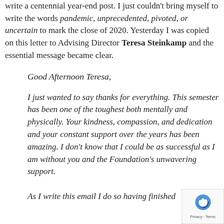write a centennial year-end post. I just couldn't bring myself to write the words pandemic, unprecedented, pivoted, or uncertain to mark the close of 2020. Yesterday I was copied on this letter to Advising Director Teresa Steinkamp and the essential message became clear.
Good Afternoon Teresa,
I just wanted to say thanks for everything. This semester has been one of the toughest both mentally and physically. Your kindness, compassion, and dedication and your constant support over the years has been amazing. I don't know that I could be as successful as I am without you and the Foundation's unwavering support.
As I write this email I do so having finished